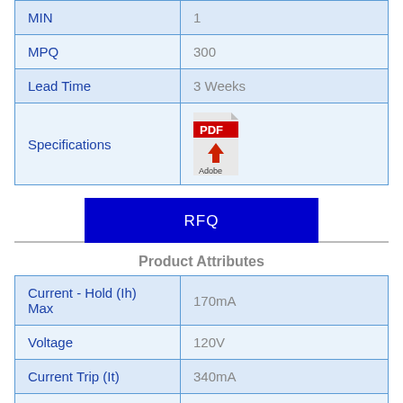| Property | Value |
| --- | --- |
| MIN | 1 |
| MPQ | 300 |
| Lead Time | 3 Weeks |
| Specifications | [PDF icon] |
RFQ
Product Attributes
| Attribute | Value |
| --- | --- |
| Current - Hold (Ih) Max | 170mA |
| Voltage | 120V |
| Current Trip (It) | 340mA |
| Current Rating | 2A |